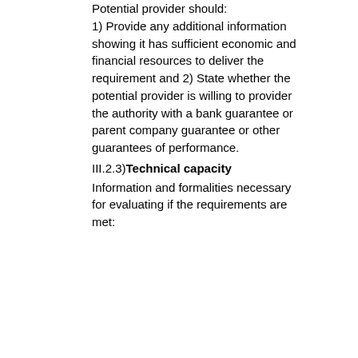Potential provider should:
1) Provide any additional information showing it has sufficient economic and financial resources to deliver the requirement and 2) State whether the potential provider is willing to provider the authority with a bank guarantee or parent company guarantee or other guarantees of performance.
III.2.3)Technical capacity
Information and formalities necessary for evaluating if the requirements are met: